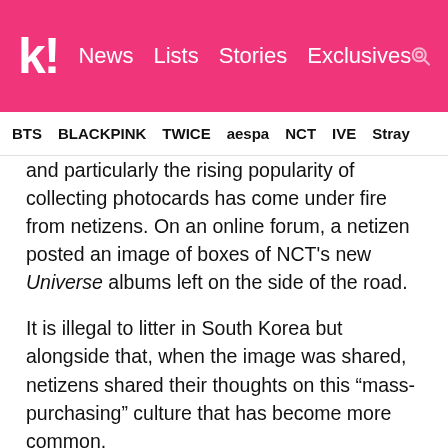k! News Lists Stories Exclusives
BTS BLACKPINK TWICE aespa NCT IVE Stray
and particularly the rising popularity of collecting photocards has come under fire from netizens. On an online forum, a netizen posted an image of boxes of NCT's new Universe albums left on the side of the road.
It is illegal to litter in South Korea but alongside that, when the image was shared, netizens shared their thoughts on this “mass-purchasing” culture that has become more common.
명동 씨티레코드 위에 6번출구 앞에 두 박스 사서 포카만 빵고 버리고 간 분.. 처리 좀 하 세요 강 버리시면 어캐요